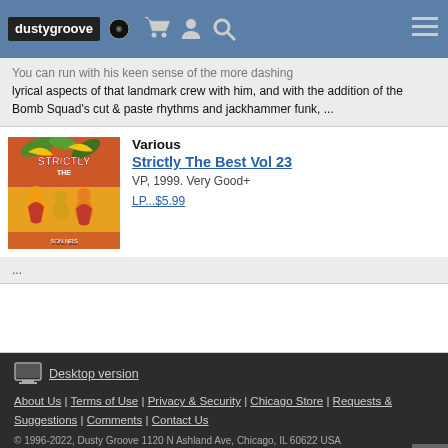dusty groove [logo with navigation icons]
You can run with his keen sense of the more dashing lyrical aspects of that landmark crew with him, and with the addition of the Bomb Squad's cut & paste rhythms and jackhammer funk, ...
Various
Strictly The Best Vol 23
VP, 1999. Very Good+
LP...$5.99
...
Desktop version
About Us | Terms of Use | Privacy & Security | Chicago Store | Requests & Suggestions | Comments | Contact Us
© 1996-2022, Dusty Groove 1120 N Ashland Ave, Chicago, IL 60622 USA
dg@dustygroove.com | 773-342-5800
Dusty Groove is a registered trademark — read more.